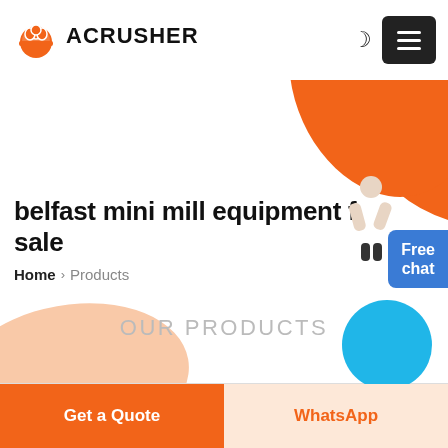[Figure (logo): Acrusher logo with orange hard-hat icon and bold uppercase text ACRUSHER]
belfast mini mill equipment for sale
Home > Products
OUR PRODUCTS
Get a Quote
WhatsApp